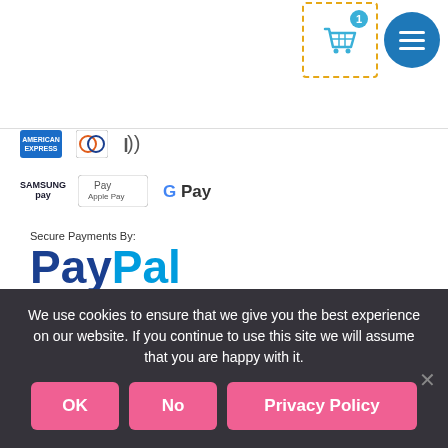[Figure (screenshot): Shopping cart icon with badge showing '1', inside dashed orange border box, and blue circular menu/hamburger button]
[Figure (logo): Payment method icons: American Express (blue), Diners Club, contactless payment, Samsung Pay, Apple Pay, Google Pay]
[Figure (logo): Secure Payments By: PayPal logo with VISA, MasterCard, Discover, American Express card logos and text 'NO PAYPAL ACCOUNT NEEDED!']
We use cookies to ensure that we give you the best experience on our website. If you continue to use this site we will assume that you are happy with it.
OK
No
Privacy Policy